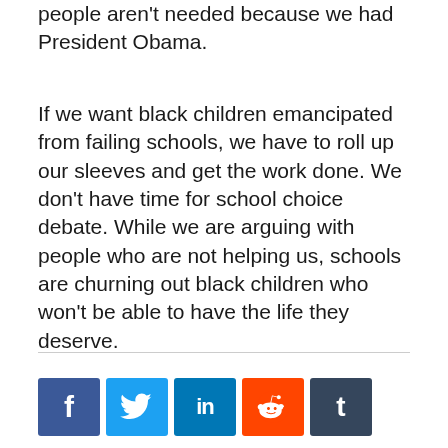people aren't needed because we had President Obama.
If we want black children emancipated from failing schools, we have to roll up our sleeves and get the work done. We don't have time for school choice debate. While we are arguing with people who are not helping us, schools are churning out black children who won't be able to have the life they deserve.
[Figure (infographic): Social media share buttons: Facebook (blue), Twitter (light blue), LinkedIn (dark blue), Reddit (orange), Tumblr (dark slate)]